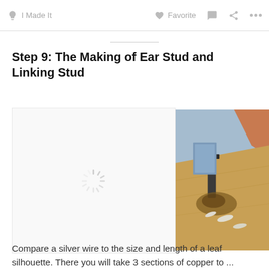I Made It   Favorite   ... ...
Step 9: The Making of Ear Stud and Linking Stud
[Figure (photo): Loading spinner placeholder (left) and close-up photo of jewelry/soldering work on a wooden board with silver leaf-shaped pieces (right)]
Compare a silver wire to the size and length of a leaf silhouette. There you will take 3 sections of copper to ...